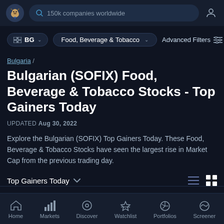[Figure (screenshot): Top navigation bar with logo (bull/bear mascot), search bar reading '150k companies worldwide', and user profile icon]
[Figure (screenshot): Filter bar with BG country pill dropdown, 'Food, Beverage & Tobacco' pill dropdown, and Advanced Filters button]
Bulgaria /
Bulgarian (SOFIX) Food, Beverage & Tobacco Stocks - Top Gainers Today
UPDATED Aug 30, 2022
Explore the Bulgarian (SOFIX) Top Gainers Today. These Food, Beverage & Tobacco Stocks have seen the largest rise in Market Cap from the previous trading day.
Top Gainers Today
[Figure (screenshot): Bottom navigation bar with icons for Home, Markets, Discover, Watchlist, Portfolios, Screener]